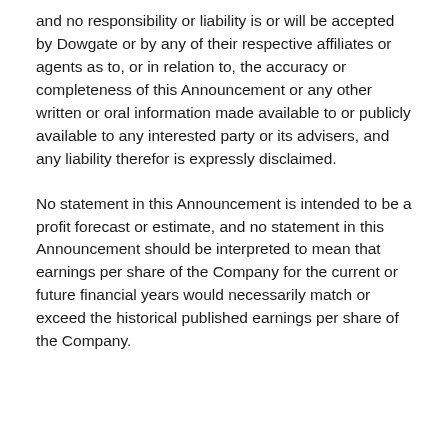and no responsibility or liability is or will be accepted by Dowgate or by any of their respective affiliates or agents as to, or in relation to, the accuracy or completeness of this Announcement or any other written or oral information made available to or publicly available to any interested party or its advisers, and any liability therefor is expressly disclaimed.
No statement in this Announcement is intended to be a profit forecast or estimate, and no statement in this Announcement should be interpreted to mean that earnings per share of the Company for the current or future financial years would necessarily match or exceed the historical published earnings per share of the Company.